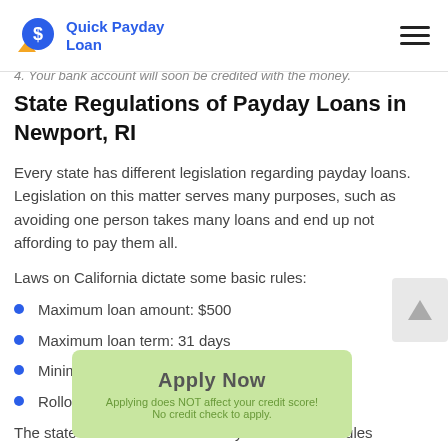Quick Payday Loan
4. Your bank account will soon be credited with the money.
State Regulations of Payday Loans in Newport, RI
Every state has different legislation regarding payday loans. Legislation on this matter serves many purposes, such as avoiding one person takes many loans and end up not affording to pay them all.
Laws on California dictate some basic rules:
Maximum loan amount: $500
Maximum loan term: 31 days
Minimum loan term: 7 days
Rollovers: none
The state of Rhode Island not only has set these rules